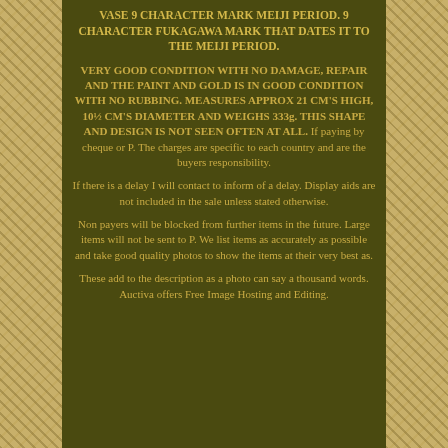VASE 9 CHARACTER MARK MEIJI PERIOD. 9 CHARACTER FUKAGAWA MARK THAT DATES IT TO THE MEIJI PERIOD.
VERY GOOD CONDITION WITH NO DAMAGE, REPAIR AND THE PAINT AND GOLD IS IN GOOD CONDITION WITH NO RUBBING. MEASURES APPROX 21 CM'S HIGH, 10½ CM'S DIAMETER AND WEIGHS 333g. THIS SHAPE AND DESIGN IS NOT SEEN OFTEN AT ALL. If paying by cheque or P. The charges are specific to each country and are the buyers responsibility.
If there is a delay I will contact to inform of a delay. Display aids are not included in the sale unless stated otherwise.
Non payers will be blocked from further items in the future. Large items will not be sent to P. We list items as accurately as possible and take good quality photos to show the items at their very best as.
These add to the description as a photo can say a thousand words. Auctiva offers Free Image Hosting and Editing.